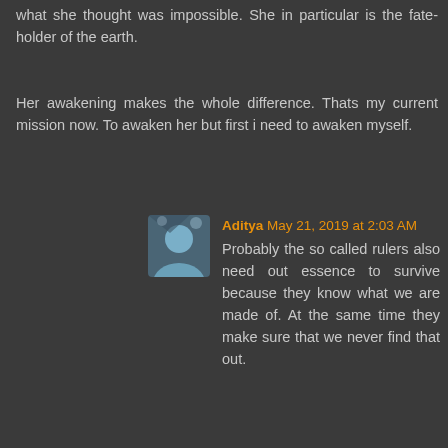what she thought was impossible. She in particular is the fate-holder of the earth.
Her awakening makes the whole difference. Thats my current mission now. To awaken her but first i need to awaken myself.
Aditya May 21, 2019 at 2:03 AM
Probably the so called rulers also need out essence to survive because they know what we are made of. At the same time they make sure that we never find that out.
Ana May 23, 2019 at 8:41 PM
I was wondering... why? This is not good. Is it an spider galactic web? Sorry, I don't understand this.
garSev May 31, 2019 at 7:07 AM